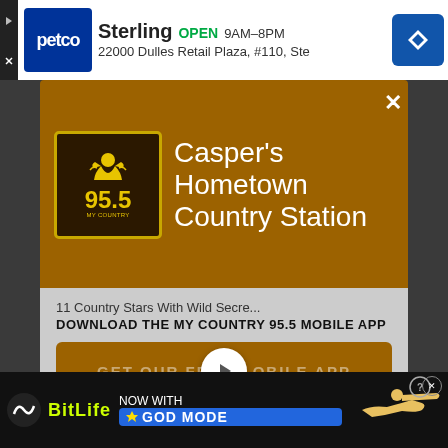[Figure (screenshot): Petco ad banner: Sterling OPEN 9AM-8PM, 22000 Dulles Retail Plaza, #110, Ste]
[Figure (screenshot): My Country 95.5 radio station modal popup showing logo, Casper's Hometown Country Station text, close button, download CTA, and Amazon Alexa listen option]
[Figure (screenshot): BitLife mobile game advertisement: NOW WITH GOD MODE]